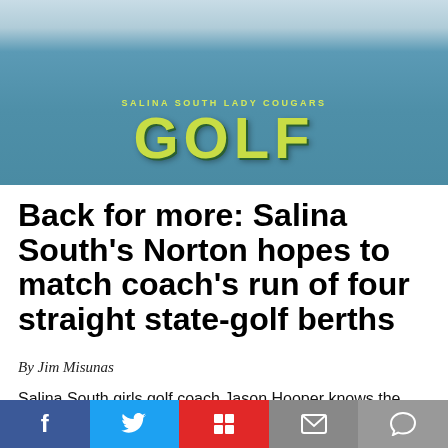[Figure (photo): Person wearing a blue Salina South Lady Cougars Golf t-shirt, photo cropped to show torso with green/yellow logo text]
Back for more: Salina South's Norton hopes to match coach's run of four straight state-golf berths
By Jim Misunas
Salina South girls golf coach Jason Hooper knows the
[Figure (infographic): Social media share bar with Facebook, Twitter, Flipboard, Email, and Comment buttons]